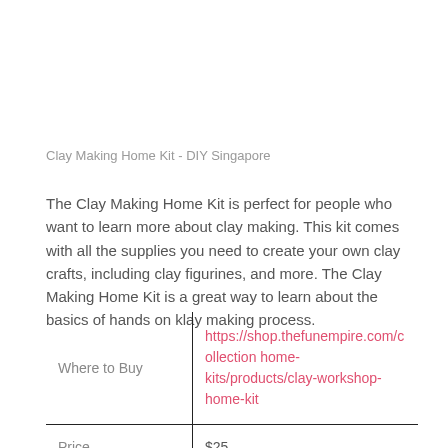Clay Making Home Kit - DIY Singapore
The Clay Making Home Kit is perfect for people who want to learn more about clay making. This kit comes with all the supplies you need to create your own clay crafts, including clay figurines, and more. The Clay Making Home Kit is a great way to learn about the basics of hands on klay making process.
| Where to Buy | Price |
| --- | --- |
| Where to Buy | https://shop.thefunempire.com/collection home-kits/products/clay-workshop-home-kit |
| Price | $25 |